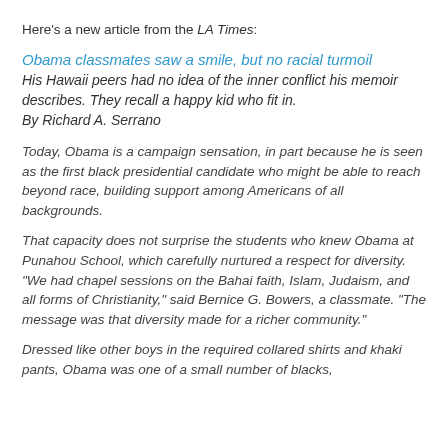Here's a new article from the LA Times:
Obama classmates saw a smile, but no racial turmoil
His Hawaii peers had no idea of the inner conflict his memoir describes. They recall a happy kid who fit in.
By Richard A. Serrano
Today, Obama is a campaign sensation, in part because he is seen as the first black presidential candidate who might be able to reach beyond race, building support among Americans of all backgrounds.
That capacity does not surprise the students who knew Obama at Punahou School, which carefully nurtured a respect for diversity. "We had chapel sessions on the Bahai faith, Islam, Judaism, and all forms of Christianity," said Bernice G. Bowers, a classmate. "The message was that diversity made for a richer community."
Dressed like other boys in the required collared shirts and khaki pants, Obama was one of a small number of blacks,